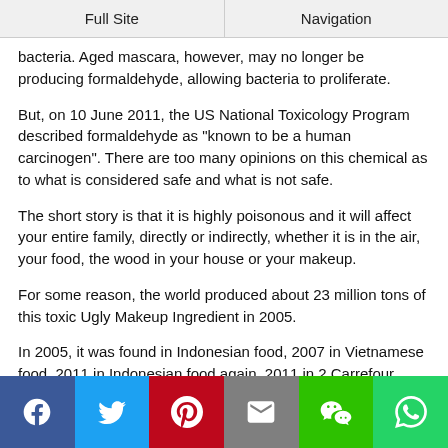Full Site | Navigation
bacteria. Aged mascara, however, may no longer be producing formaldehyde, allowing bacteria to proliferate.
But, on 10 June 2011, the US National Toxicology Program described formaldehyde as "known to be a human carcinogen". There are too many opinions on this chemical as to what is considered safe and what is not safe.
The short story is that it is highly poisonous and it will affect your entire family, directly or indirectly, whether it is in the air, your food, the wood in your house or your makeup.
For some reason, the world produced about 23 million tons of this toxic Ugly Makeup Ingredient in 2005.
In 2005, it was found in Indonesian food, 2007 in Vietnamese food, 2011 in Indonesian food again, 2011 in 2 Carrefour supermarkets – when ingested, formaldehyde has been shown to cause
Facebook | Twitter | Pinterest | Email | WeChat | WhatsApp